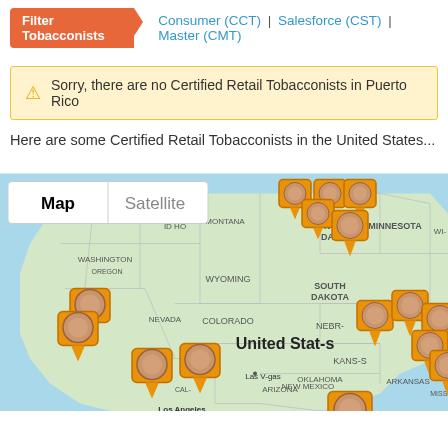Filter Tobacconists  Consumer (CCT) | Salesforce (CST) | Master (CMT)
Sorry, there are no Certified Retail Tobacconists in Puerto Rico
Here are some Certified Retail Tobacconists in the United States...
[Figure (map): Google Map showing the United States with multiple orange map pin markers indicating locations of Certified Retail Tobacconists. States visible include Washington, Oregon, California, Nevada, Idaho, Montana, Wyoming, Colorado, Arizona, New Mexico, North Dakota, South Dakota, Nebraska, Kansas, Oklahoma, Arkansas, Minnesota, Wisconsin, Texas and others. A Map/Satellite toggle is visible in the upper left of the map. City labels include Los Angeles, San Diego, Las Vegas. The label 'United States' appears in bold in the center of the map.]